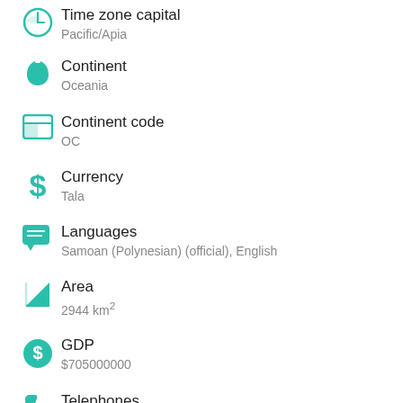Time zone capital
Pacific/Apia
Continent
Oceania
Continent code
OC
Currency
Tala
Languages
Samoan (Polynesian) (official), English
Area
2944 km²
GDP
$705000000
Telephones
35300
Mobile phones
167400